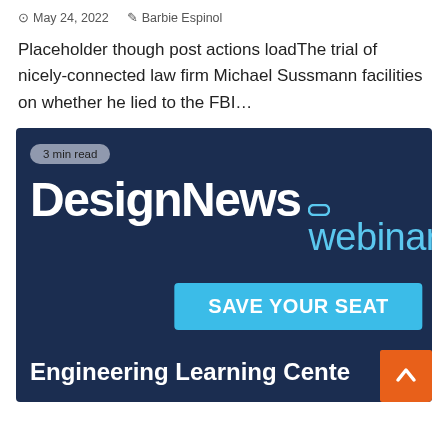May 24, 2022  Barbie Espinol
Placeholder though post actions loadThe trial of nicely-connected law firm Michael Sussmann facilities on whether he lied to the FBI…
[Figure (screenshot): DesignNews webinar advertisement with dark navy background. Shows '3 min read' badge, DesignNews logo in white bold text with 'webinar' in light blue, a 'SAVE YOUR SEAT' button in blue, and 'Engineering Learning Cente' text at the bottom. An orange scroll-up button is visible in the bottom-right corner.]